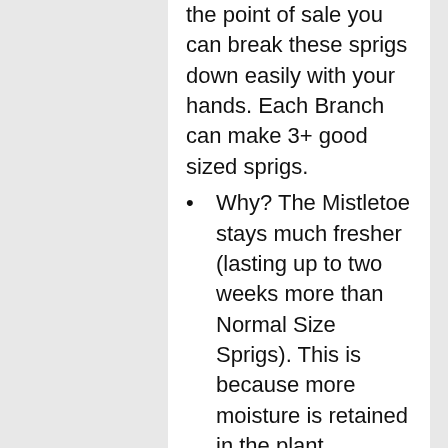the point of sale you can break these sprigs down easily with your hands. Each Branch can make 3+ good sized sprigs.
Why? The Mistletoe stays much fresher (lasting up to two weeks more than Normal Size Sprigs). This is because more moisture is retained in the plant.
Also you want to make a nice big kissing ball you can do this with branches, it isn't possible with normal sprigs (You can make large sprigs smaller but cannot make small sprigs larger)
We only supply the usable parts of the mistletoe (no unberried mistletoe) this ensures you are only getting what you can use. We put no more than 100